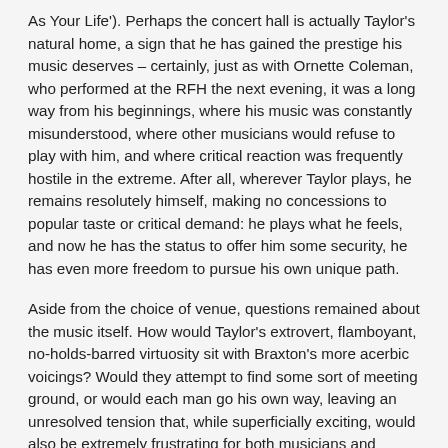As Your Life'). Perhaps the concert hall is actually Taylor's natural home, a sign that he has gained the prestige his music deserves – certainly, just as with Ornette Coleman, who performed at the RFH the next evening, it was a long way from his beginnings, where his music was constantly misunderstood, where other musicians would refuse to play with him, and where critical reaction was frequently hostile in the extreme. After all, wherever Taylor plays, he remains resolutely himself, making no concessions to popular taste or critical demand: he plays what he feels, and now he has the status to offer him some security, he has even more freedom to pursue his own unique path.
Aside from the choice of venue, questions remained about the music itself. How would Taylor's extrovert, flamboyant, no-holds-barred virtuosity sit with Braxton's more acerbic voicings? Would they attempt to find some sort of meeting ground, or would each man go his own way, leaving an unresolved tension that, while superficially exciting, would also be extremely frustrating for both musicians and audience?